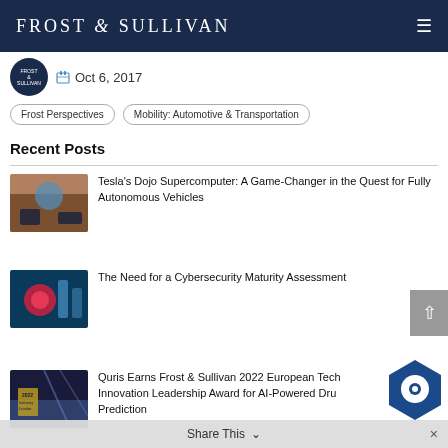FROST & SULLIVAN
Oct 6, 2017
Frost Perspectives
Mobility: Automotive & Transportation
Recent Posts
Tesla’s Dojo Supercomputer: A Game-Changer in the Quest for Fully Autonomous Vehicles
The Need for a Cybersecurity Maturity Assessment
Quris Earns Frost & Sullivan 2022 European Technology Innovation Leadership Award for AI-Powered Drug Prediction